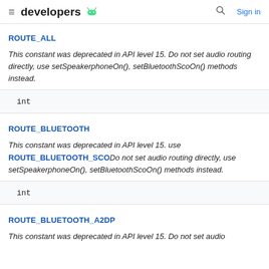developers
ROUTE_ALL
This constant was deprecated in API level 15. Do not set audio routing directly, use setSpeakerphoneOn(), setBluetoothScoOn() methods instead.
| int |
ROUTE_BLUETOOTH
This constant was deprecated in API level 15. use ROUTE_BLUETOOTH_SCODo not set audio routing directly, use setSpeakerphoneOn(), setBluetoothScoOn() methods instead.
| int |
ROUTE_BLUETOOTH_A2DP
This constant was deprecated in API level 15. Do not set audio